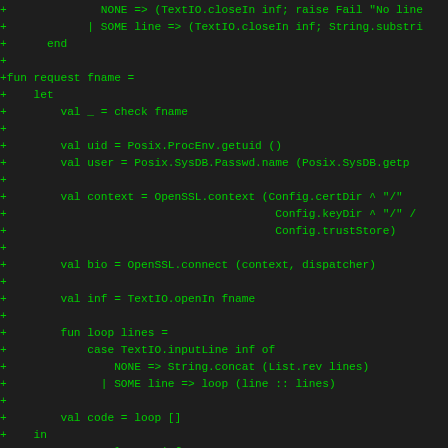[Figure (screenshot): Source code diff snippet showing SML/NJ code in green on dark background. Lines prefixed with '+' showing additions to a request function including TextIO, OpenSSL, and Msg operations.]